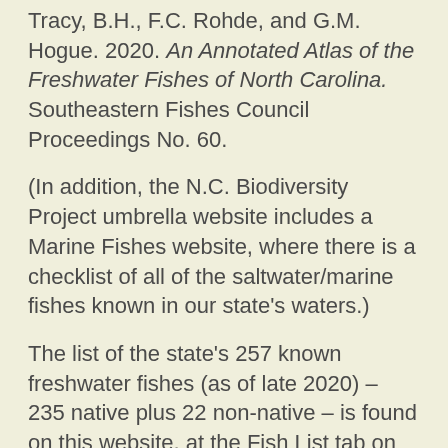Tracy, B.H., F.C. Rohde, and G.M. Hogue. 2020. An Annotated Atlas of the Freshwater Fishes of North Carolina. Southeastern Fishes Council Proceedings No. 60.
(In addition, the N.C. Biodiversity Project umbrella website includes a Marine Fishes website, where there is a checklist of all of the saltwater/marine fishes known in our state's waters.)
The list of the state's 257 known freshwater fishes (as of late 2020) – 235 native plus 22 non-native – is found on this website, at the Fish List tab on the left margin. In addition, the list can be found – in a printable PDF format – at the Checklist tab on the left margin. Note that the website and checklist provide the various State and US/Global statuses and ranks. Definitions are found on the PDF